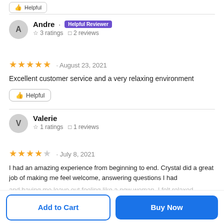👍 Helpful (button, top)
Andre · Helpful Reviewer
☆ 3 ratings  □ 2 reviews
★★★★★ · August 23, 2021
Excellent customer service and a very relaxing environment
👍 Helpful
Valerie
☆ 1 ratings  □ 1 reviews
★★★★☆ · July 8, 2021
I had an amazing experience from beginning to end. Crystal did a great job of making me feel welcome, answering questions I had and having me leave out feeling like a new woman. I felt relaxed and energized and ready for whatever. I definitely will be back
Add to Cart
Buy Now